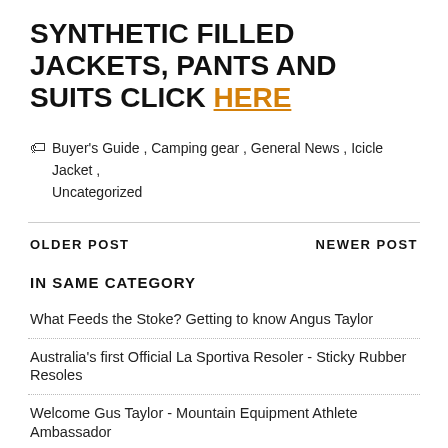SYNTHETIC FILLED JACKETS, PANTS AND SUITS CLICK HERE
🏷 Buyer's Guide , Camping gear , General News , Icicle Jacket , Uncategorized
OLDER POST   NEWER POST
IN SAME CATEGORY
What Feeds the Stoke? Getting to know Angus Taylor
Australia's first Official La Sportiva Resoler - Sticky Rubber Resoles
Welcome Gus Taylor - Mountain Equipment Athlete Ambassador
Youth Climbing - The Phenomenon of Kids Rock Climbing
A Beginners Guide to Back Country Snow Camping in the Aussie